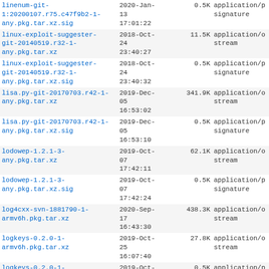| Filename | Date/Time | Size | Type |
| --- | --- | --- | --- |
| linenum-git-1:20200107.r75.c47f9b2-1-any.pkg.tar.xz.sig | 2020-Jan-13 17:01:22 | 0.5K | application/p signature |
| linux-exploit-suggester-git-20140519.r32-1-any.pkg.tar.xz | 2018-Oct-24 23:40:27 | 11.5K | application/o stream |
| linux-exploit-suggester-git-20140519.r32-1-any.pkg.tar.xz.sig | 2018-Oct-24 23:40:32 | 0.5K | application/p signature |
| lisa.py-git-20170703.r42-1-any.pkg.tar.xz | 2019-Dec-05 16:53:02 | 341.9K | application/o stream |
| lisa.py-git-20170703.r42-1-any.pkg.tar.xz.sig | 2019-Dec-05 16:53:10 | 0.5K | application/p signature |
| lodowep-1.2.1-3-any.pkg.tar.xz | 2019-Oct-07 17:42:11 | 62.1K | application/o stream |
| lodowep-1.2.1-3-any.pkg.tar.xz.sig | 2019-Oct-07 17:42:24 | 0.5K | application/p signature |
| log4cxx-svn-1881790-1-armv6h.pkg.tar.xz | 2020-Sep-17 16:43:30 | 438.3K | application/o stream |
| logkeys-0.2.0-1-armv6h.pkg.tar.xz | 2019-Oct-25 16:07:40 | 27.8K | application/o stream |
| logkeys-0.2.0-1-armv6h.pkg.tar.xz.sig | 2019-Oct-25 16:07:43 | 0.5K | application/p signature |
| lsrtunnel-0.2-4-... | 2017-Mar-24 | 7.8K | application/o |